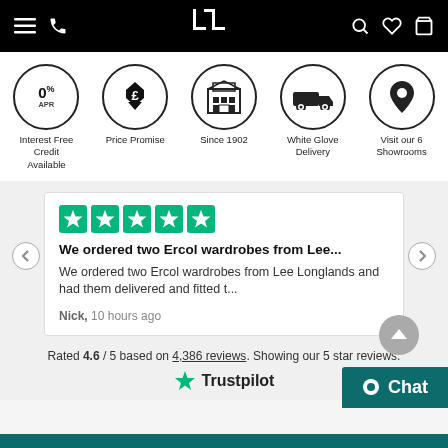Lee Longlands navigation header
[Figure (infographic): Five circular icons: 0% APR Interest Free Credit Available, Price Promise (£ with arrow), Since 1902 (building), White Glove Delivery (truck), Visit our 6 Showrooms (location pin)]
We ordered two Ercol wardrobes from Lee... We ordered two Ercol wardrobes from Lee Longlands and had them delivered and fitted t...
Nick, 10 hours ago
Rated 4.6 / 5 based on 4,386 reviews. Showing our 5 star reviews.
[Figure (logo): Trustpilot logo with green star]
Chat